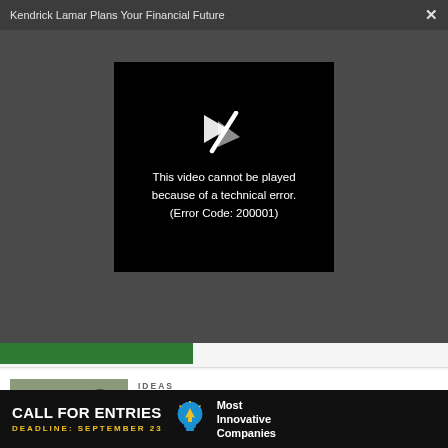Kendrick Lamar Plans Your Financial Future  ×
[Figure (screenshot): Video player error screen on dark background: broken play button icon with text 'This video cannot be played because of a technical error. (Error Code: 200001)']
IDEAS
These affordable apartments are designed to use almost no energy
[Figure (photo): Exterior photo of modern affordable apartment buildings with trees and a street in the foreground]
CALL FOR ENTRIES  DEADLINE: SEPTEMBER 23  Most Innovative Companies